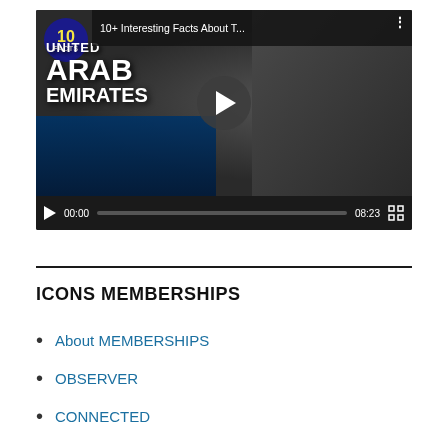[Figure (screenshot): YouTube video player showing '10+ Interesting Facts About T...' video thumbnail with '10 FACTS ARAB EMIRATES' text overlay, a play button in the center, and video controls showing 00:00 / 08:23 at the bottom.]
ICONS MEMBERSHIPS
About MEMBERSHIPS
OBSERVER
CONNECTED